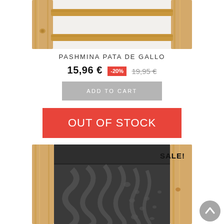[Figure (photo): Top portion of a wooden ladder-style display rack with a white textured wall background]
PASHMINA PATA DE GALLO
15,96 € -20% 19,95 €
ADD TO CART
OUT OF STOCK
[Figure (photo): A dark grey/charcoal scarf with animal print (zebra and leopard pattern) draped over a wooden ladder-style rack. A 'SALE!' badge is visible in the top right corner.]